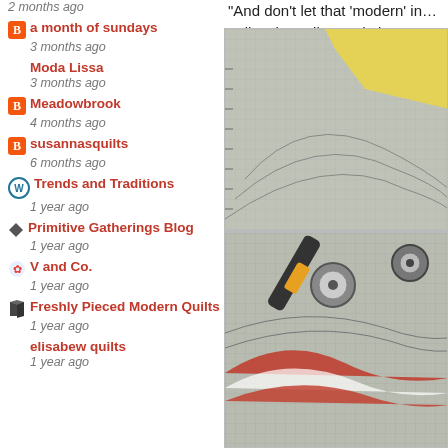2 months ago
a month of sundays
3 months ago
Moda Lissa
3 months ago
Meadowbrook
4 months ago
susannasquilts
6 months ago
Trends and Traditions
1 year ago
Primitive Gatherings Blog
1 year ago
V and Co.
1 year ago
Freshly Pieced Modern Quilts
1 year ago
elisabew quilts
1 year ago
"And don't let that 'modern' in... quilts, the quilt I made is as tr... a hundred years old.
[Figure (photo): Two photos of quilt-making process: top image shows yellow fabric on a cutting mat with curved template lines; bottom image shows a rotary cutter cutting curved quilt pieces on a cutting mat with red and white fabric.]